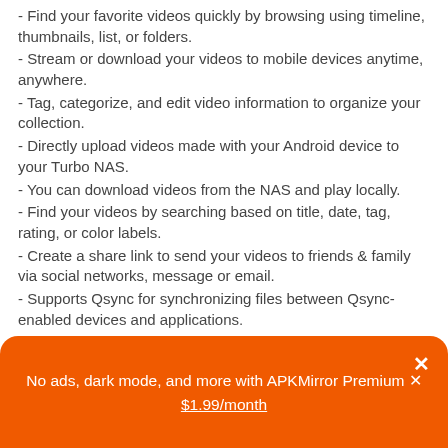- Find your favorite videos quickly by browsing using timeline, thumbnails, list, or folders.
- Stream or download your videos to mobile devices anytime, anywhere.
- Tag, categorize, and edit video information to organize your collection.
- Directly upload videos made with your Android device to your Turbo NAS.
- You can download videos from the NAS and play locally.
- Find your videos by searching based on title, date, tag, rating, or color labels.
- Create a share link to send your videos to friends & family via social networks, message or email.
- Supports Qsync for synchronizing files between Qsync-enabled devices and applications.
- Recover accidentally-deleted videos using the Trash Can folder.
- Supports a variety of connections methods to access your Turbo NAS faster.
- Support video streaming with Chromecast (A Chromecast
No ads, dark mode, and more with APKMirror Premium × $1.99/month